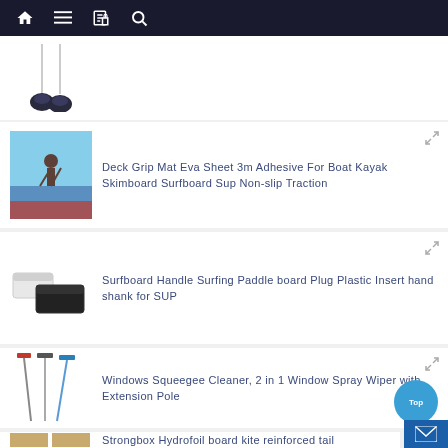Navigation bar with home, menu, book, and search icons
[Figure (photo): Suction cup hooks hanging product image (partial, top of card)]
[Figure (photo): Man paddleboarding on water]
Deck Grip Mat Eva Sheet 3m Adhesive For Boat Kayak Skimboard Surfboard Sup Non-slip Traction
[Figure (photo): White and black plastic rectangular containers/handles for surfboard]
Surfboard Handle Surfing Paddle board Plug Plastic Insert hand shank for SUP
[Figure (photo): Three window squeegee cleaners with extension poles]
Windows Squeegee Cleaner, 2 in 1 Window Spray Wiper with Extension Pole
[Figure (photo): Wooden/tan colored strongbox hydrofoil board kite products (partial)]
Strongbox Hydrofoil board kite reinforced tail